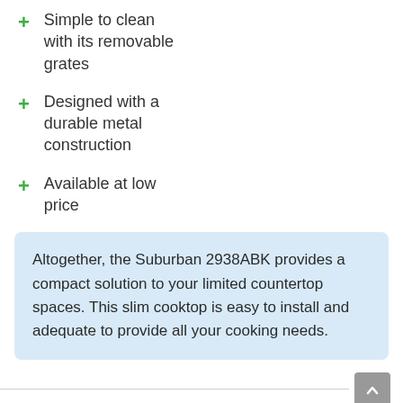Simple to clean with its removable grates
Designed with a durable metal construction
Available at low price
Altogether, the Suburban 2938ABK provides a compact solution to your limited countertop spaces. This slim cooktop is easy to install and adequate to provide all your cooking needs.
7. RecPro RV Stove Gas Range